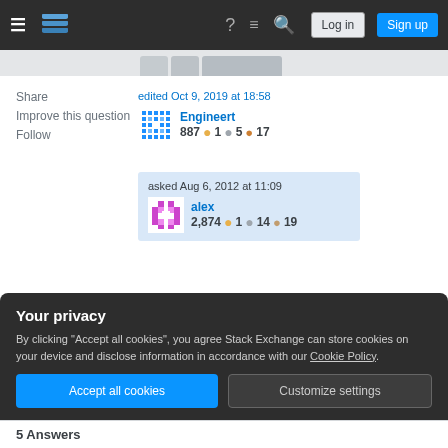Stack Exchange navigation bar with Log in and Sign up buttons
Share
Improve this question
Follow
edited Oct 9, 2019 at 18:58
Engineert
887 ●1 ●5 ●17
asked Aug 6, 2012 at 11:09
alex
2,874 ●1 ●14 ●19
Why do you need to tie templates with app versions? – superM Aug 6, 2012 at 11:19
Your privacy
By clicking "Accept all cookies", you agree Stack Exchange can store cookies on your device and disclose information in accordance with our Cookie Policy.
Accept all cookies
Customize settings
5 Answers